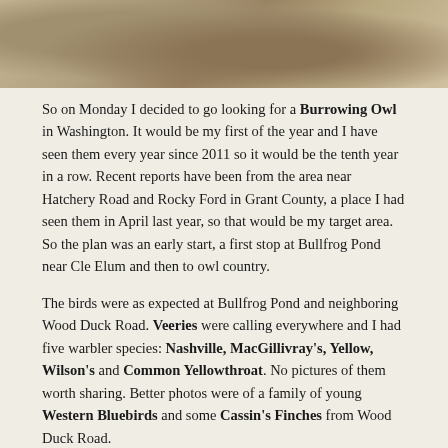[Figure (photo): Top portion of a photo showing a bird (likely a Burrowing Owl) on sandy/gravelly ground]
So on Monday I decided to go looking for a Burrowing Owl in Washington.  It would be my first of the year and I have seen them every year since 2011 so it would be the tenth year in a row.  Recent reports have been from the area near Hatchery Road and Rocky Ford in Grant County, a place I had seen them in April last year, so that would be my target area.  So the plan was an early start, a first stop at Bullfrog Pond near Cle Elum and then to owl country.
The birds were as expected at Bullfrog Pond and neighboring Wood Duck Road.  Veeries were calling everywhere and I had five warbler species: Nashville, MacGillivray's, Yellow, Wilson's and Common Yellowthroat.  No pictures of them worth sharing.  Better photos were of a family of young Western Bluebirds and some Cassin's Finches from Wood Duck Road.
Young Western Bluebirds